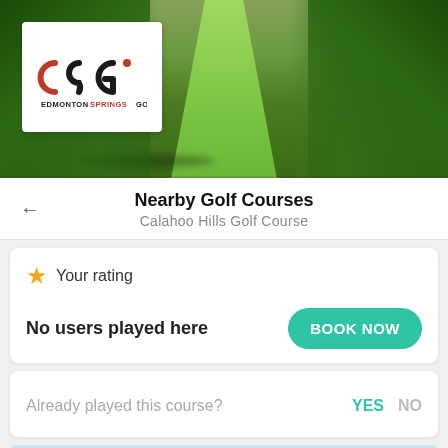[Figure (photo): Golf course fairway lined with trees, with an Edmonton Springs Golf logo overlay in the top-left corner]
Nearby Golf Courses
Calahoo Hills Golf Course
★ Your rating
No users played here
BOOK NOW
Already played this course?
YES
NO
[Figure (photo): Partial view of another golf course with sky and clouds at the bottom of the page]